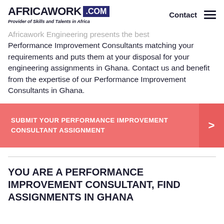AFRICAWORK .COM — Provider of Skills and Talents in Africa — Contact
Africawork Engineering presents the best Performance Improvement Consultants matching your requirements and puts them at your disposal for your engineering assignments in Ghana. Contact us and benefit from the expertise of our Performance Improvement Consultants in Ghana.
SUBMIT YOUR PERFORMANCE IMPROVEMENT CONSULTANT ASSIGNMENT
YOU ARE A PERFORMANCE IMPROVEMENT CONSULTANT, FIND ASSIGNMENTS IN GHANA